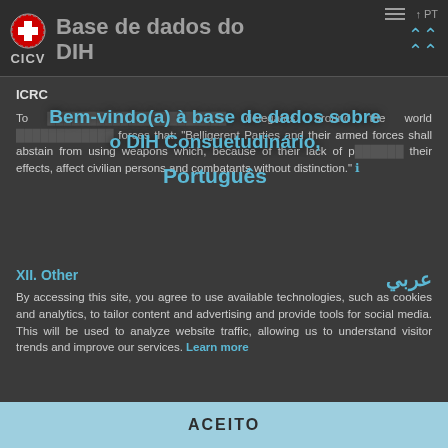CICV – Base de dados do DIH
ICRC
To ... delegates around the world ... forces that: "Belligerent Parties and their armed forces shall abstain from using weapons which, because of their lack of precision or their effects, affect civilian persons and combatants without distinction."
[Figure (other): Overlay popup with text: Bem-vindo(a) à base de dados sobre o DIH Consuetudinário, and language selector showing Português and عربي]
XII. Other
By accessing this site, you agree to use available technologies, such as cookies and analytics, to tailor content and advertising and provide tools for social media. This will be used to analyze website traffic, allowing us to understand visitor trends and improve our services. Learn more
ACEITO